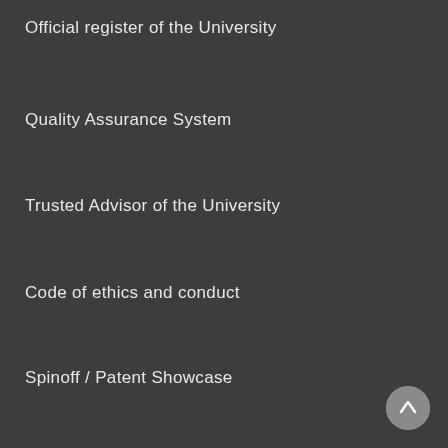Official register of the University
Quality Assurance System
Trusted Advisor of the University
Code of ethics and conduct
Spinoff / Patent Showcase
Fundraising, donations, 5x1000